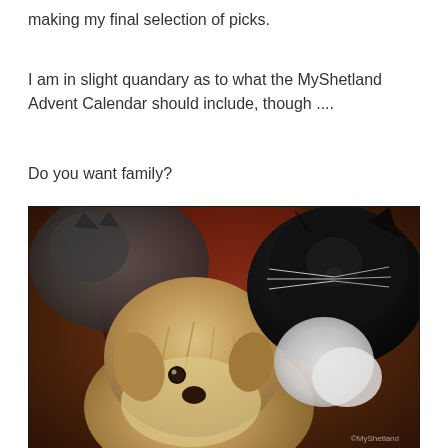making my final selection of picks.
I am in slight quandary as to what the MyShetland Advent Calendar should include, though ....
Do you want family?
[Figure (photo): Photo of a small shaggy dog (terrier type) in the center-bottom, a black and white cat on the right nuzzling the dog, and another cat visible in the upper left, all cuddled together on what appears to be a warm reddish-brown surface.]